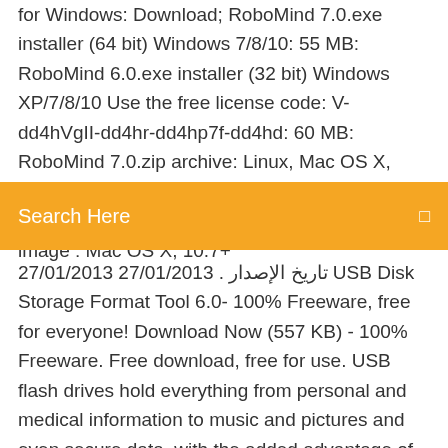for Windows: Download; RoboMind 7.0.exe installer (64 bit) Windows 7/8/10: 55 MB: RoboMind 6.0.exe installer (32 bit) Windows XP/7/8/10 Use the free license code: V-dd4hVgII-dd4hr-dd4hp7f-dd4hd: 60 MB: RoboMind 7.0.zip archive: Linux, Mac OS X, Windows (OS independent) Requires Java 11, see readme.txt: 45 MB: RoboMind 5.3.dmg image : Mac OS X, 10.7+
Search Here
27/01/2013 27/01/2013 . تاريخ الإصدار USB Disk Storage Format Tool 6.0- 100% Freeware, free for everyone! Download Now (557 KB) - 100% Freeware. Free download, free for use. USB flash drives hold everything from personal and medical information to music and pictures and even secure data, with the added advantage of being small and rugged enough for keychain duty. For 3.7.0, we provide two binary installer options for download. The default variant is 64-bit-only and works on macOS 10.9 (Mavericks) and later systems. We also continue to provide a 64-bit/32-bit variant that works on all versions of macOS from